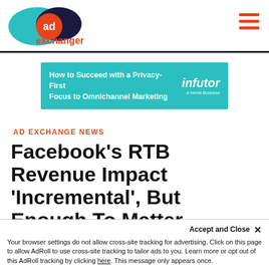AdExchanger logo and navigation
[Figure (logo): AdExchanger logo: teal oval, dark navy oval overlapping, orange circle with 'ad' text, 'exchanger' in orange text below]
[Figure (infographic): Advertisement banner: teal background, text 'How to Succeed with a Privacy-First Focus to Omnichannel Marketing', infutor logo (A Verisk Business)]
AD EXCHANGE NEWS
Facebook's RTB Revenue Impact 'Incremental', But Enough To Matter
By AdExchanger
Wednesday, June 13th, 2012 – 10:37 pm
Your browser settings do not allow cross-site tracking for advertising. Click on this page to allow AdRoll to use cross-site tracking to tailor ads to you. Learn more or opt out of this AdRoll tracking by clicking here. This message only appears once.